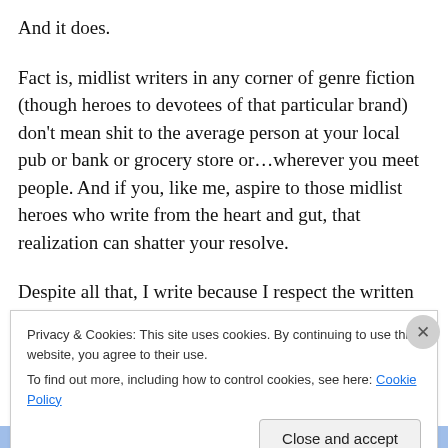And it does.
Fact is, midlist writers in any corner of genre fiction (though heroes to devotees of that particular brand) don’t mean shit to the average person at your local pub or bank or grocery store or…wherever you meet people. And if you, like me, aspire to those midlist heroes who write from the heart and gut, that realization can shatter your resolve.
Despite all that, I write because I respect the written word. I write because I want to articulate my feelings through stories. I write because I love the process of creation. I
Privacy & Cookies: This site uses cookies. By continuing to use this website, you agree to their use.
To find out more, including how to control cookies, see here: Cookie Policy
Close and accept